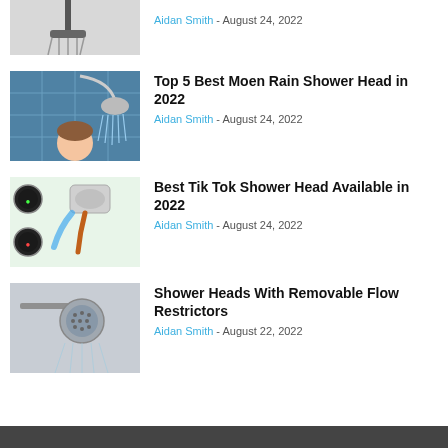[Figure (photo): Partial shower head image at top of page, cropped]
Aidan Smith - August 24, 2022
[Figure (photo): Woman showering under Moen rain shower head with blue tile background]
Top 5 Best Moen Rain Shower Head in 2022
Aidan Smith - August 24, 2022
[Figure (photo): LED color-changing TikTok shower head with orange hose]
Best Tik Tok Shower Head Available in 2022
Aidan Smith - August 24, 2022
[Figure (photo): Silver shower head with removable flow restrictors on grey background]
Shower Heads With Removable Flow Restrictors
Aidan Smith - August 22, 2022